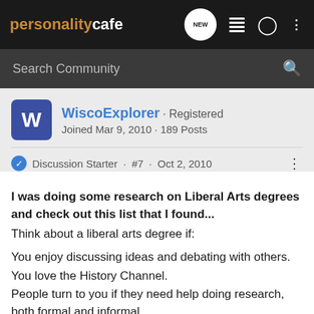personality cafe
Search Community
WiscoExplorer · Registered
Joined Mar 9, 2010 · 189 Posts
Discussion Starter · #7 · Oct 2, 2010
I was doing some research on Liberal Arts degrees and check out this list that I found...
Think about a liberal arts degree if:

You enjoy discussing ideas and debating with others.
You love the History Channel.
People turn to you if they need help doing research, both formal and informal.
You are interested in how the natural and social sciences relate to each other.